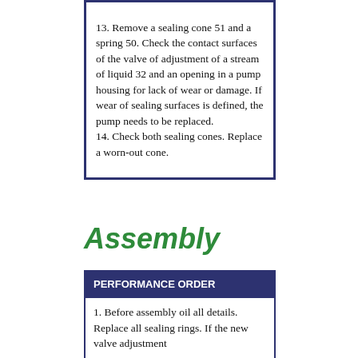13. Remove a sealing cone 51 and a spring 50. Check the contact surfaces of the valve of adjustment of a stream of liquid 32 and an opening in a pump housing for lack of wear or damage. If wear of sealing surfaces is defined, the pump needs to be replaced.
14. Check both sealing cones. Replace a worn-out cone.
Assembly
| PERFORMANCE ORDER |
| --- |
| 1. Before assembly oil all details. Replace all sealing rings. If the new valve adjustment |